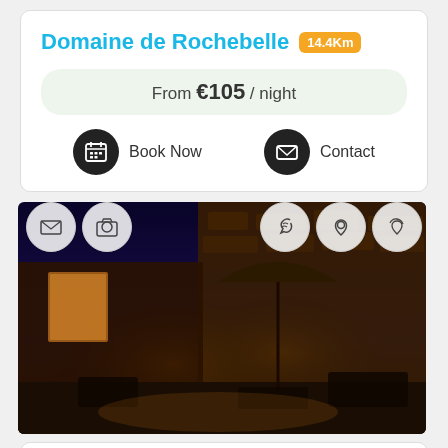Domaine de Rochebelle 14.4Km
From €105 / night
Book Now   Contact
[Figure (photo): Night photo of a stone-walled courtyard with warm lighting, outdoor furniture, and umbrella]
Mas de La Rivoire 17.9Km
From €100 / night